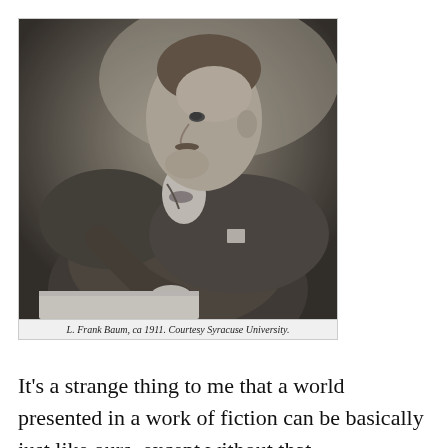[Figure (photo): Black and white portrait photograph of L. Frank Baum, circa 1911, shown in profile leaning over a desk writing, wearing a suit jacket.]
L. Frank Baum, ca 1911. Courtesy Syracuse University.
It's a strange thing to me that a world presented in a work of fiction can be basically just like ours, except without that